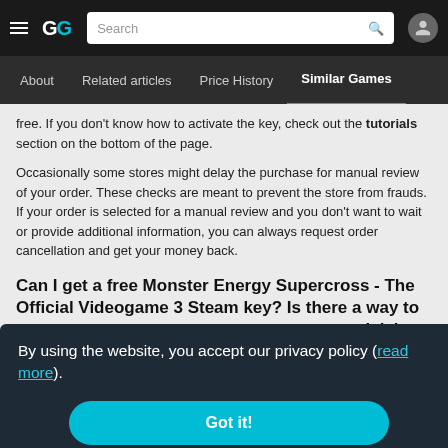GG — Search navigation with hamburger menu, logo, search bar, and user icon
About | Related articles | Price History | Similar Games
free. If you don't know how to activate the key, check out the tutorials section on the bottom of the page.
Occasionally some stores might delay the purchase for manual review of your order. These checks are meant to prevent the store from frauds. If your order is selected for a manual review and you don't want to wait or provide additional information, you can always request order cancellation and get your money back.
Can I get a free Monster Energy Supercross - The Official Videogame 3 Steam key? Is there a way to ... icial
By using the website, you accept our privacy policy (read more).
Got it!
The
e". Stores keys for Games
Store. If there is a way to get Monster Energy Supercross - The Official